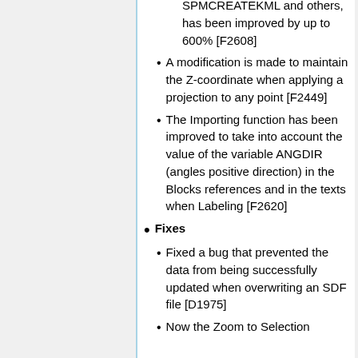SPMCREATEKML and others, has been improved by up to 600% [F2608]
A modification is made to maintain the Z-coordinate when applying a projection to any point [F2449]
The Importing function has been improved to take into account the value of the variable ANGDIR (angles positive direction) in the Blocks references and in the texts when Labeling [F2620]
Fixes
Fixed a bug that prevented the data from being successfully updated when overwriting an SDF file [D1975]
Now the Zoom to Selection